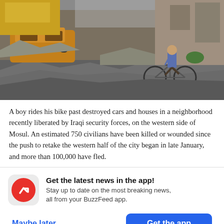[Figure (photo): A boy rides a bicycle through rubble-strewn streets with destroyed cars and buildings, in a neighborhood in western Mosul liberated by Iraqi security forces.]
A boy rides his bike past destroyed cars and houses in a neighborhood recently liberated by Iraqi security forces, on the western side of Mosul. An estimated 750 civilians have been killed or wounded since the push to retake the western half of the city began in late January, and more than 100,000 have fled.
Get the latest news in the app! Stay up to date on the most breaking news, all from your BuzzFeed app.
Maybe later
Get the app